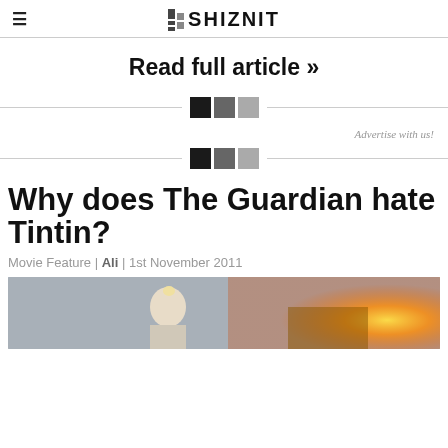THE SHIZNIT
Read full article »
Why does The Guardian hate Tintin?
Movie Feature | Ali | 1st November 2011
[Figure (photo): Movie still showing a Tintin-like animated character with light hair against a background of fire and debris]